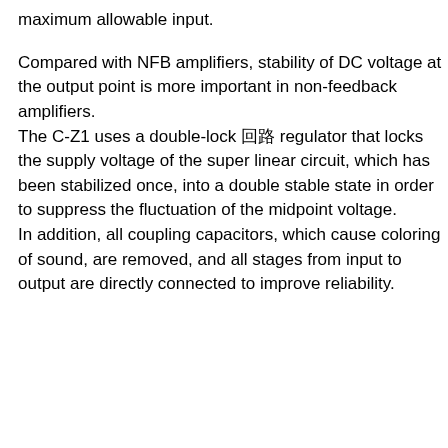maximum allowable input.
Compared with NFB amplifiers, stability of DC voltage at the output point is more important in non-feedback amplifiers. The C-Z1 uses a double-lock 回路 regulator that locks the supply voltage of the super linear circuit, which has been stabilized once, into a double stable state in order to suppress the fluctuation of the midpoint voltage. In addition, all coupling capacitors, which cause coloring of sound, are removed, and all stages from input to output are directly connected to improve reliability.